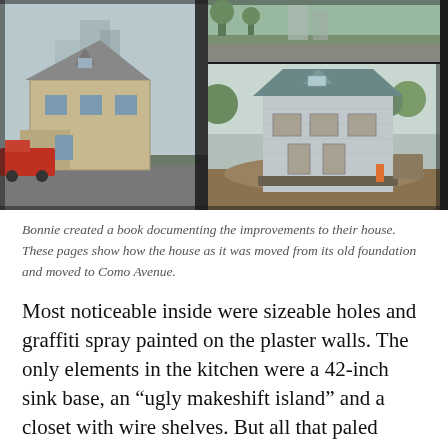[Figure (photo): Two photographs shown side by side in an open book. Left photo shows an old Victorian-style house on a street with a red truck, hazy city background. Right side shows two photos: top is a small scene, bottom is the house lifted off its foundation being moved, wrapped in gray insulation wrap, on a construction site.]
Bonnie created a book documenting the improvements to their house. These pages show how the house as it was moved from its old foundation and moved to Como Avenue.
Most noticeable inside were sizeable holes and graffiti spray painted on the plaster walls. The only elements in the kitchen were a 42-inch sink base, an “ugly makeshift island” and a closet with wire shelves. But all that paled compared to the attic. “There were four-by-four boards in a square with a